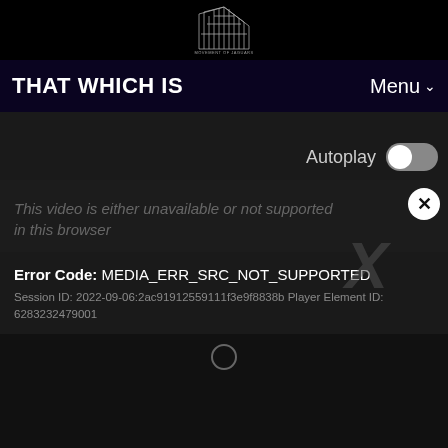[Figure (logo): Stylized architectural/building logo mark in white on black background]
THAT WHICH IS
Menu ˅
Autoplay
This video is either unavailable or not supported in this browser
Error Code: MEDIA_ERR_SRC_NOT_SUPPORTED
Session ID: 2022-09-06:2ac91912559111f3e9f8838b Player Element ID: 6283232479001